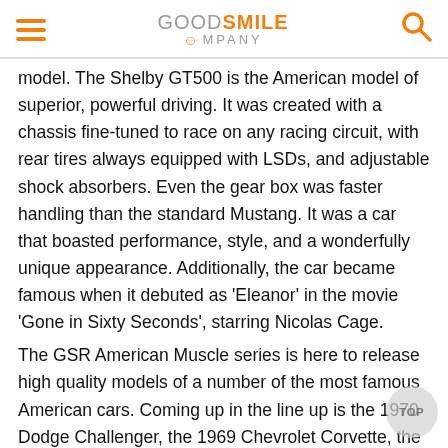Good Smile Company
model. The Shelby GT500 is the American model of superior, powerful driving. It was created with a chassis fine-tuned to race on any racing circuit, with rear tires always equipped with LSDs, and adjustable shock absorbers. Even the gear box was faster handling than the standard Mustang. It was a car that boasted performance, style, and a wonderfully unique appearance. Additionally, the car became famous when it debuted as 'Eleanor' in the movie 'Gone in Sixty Seconds', starring Nicolas Cage.
The GSR American Muscle series is here to release high quality models of a number of the most famous American cars. Coming up in the line up is the 1970 Dodge Challenger, the 1969 Chevrolet Corvette, the 1965 Shelby AC Cobra 427, the 1971 Mustang Mach 1, the 1969 Chevrolet Camaro Z28 and many more to look forward to.